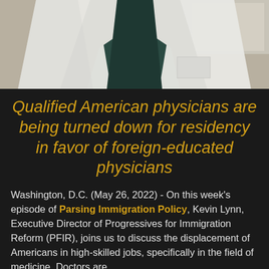[Figure (photo): Photo of a person wearing a white lab coat and dark green scrubs or shirt underneath, cropped to show torso/chest area only.]
Qualified American physicians are being turned down for residency in favor of foreign-educated physicians
Washington, D.C. (May 26, 2022) - On this week's episode of Parsing Immigration Policy, Kevin Lynn, Executive Director of Progressives for Immigration Reform (PFIR), joins us to discuss the displacement of Americans in high-skilled jobs, specifically in the field of medicine. Doctors are